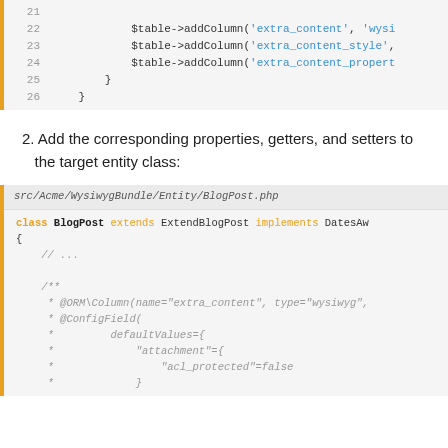[Figure (screenshot): Code block showing PHP lines 21-26 with $table->addColumn calls for extra_content, extra_content_style, extra_content_properties]
2. Add the corresponding properties, getters, and setters to the target entity class:
[Figure (screenshot): Code block for src/Acme/WysiwygBundle/Entity/BlogPost.php showing class BlogPost extends ExtendBlogPost implements DatesAw with comment block including @ORM\Column and @ConfigField annotations]